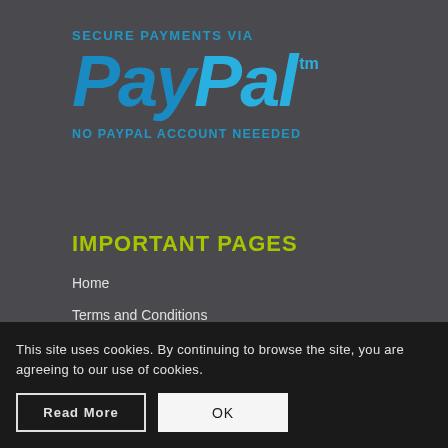SECURE PAYMENTS VIA
[Figure (logo): PayPal logo in italic bold blue text with TM superscript]
NO PAYPAL ACCOUNT NEEEDED
IMPORTANT PAGES
Home
Terms and Conditions
About
Privacy Policy
This site uses cookies. By continuing to browse the site, you are agreeing to our use of cookies.